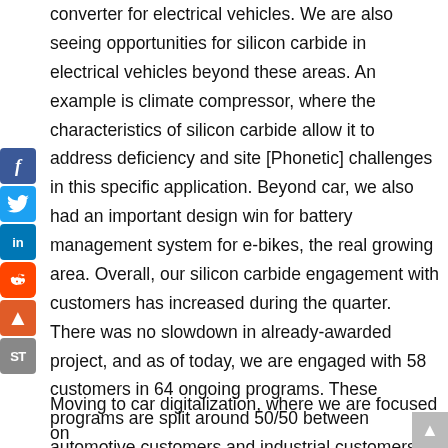converter for electrical vehicles. We are also seeing opportunities for silicon carbide in electrical vehicles beyond these areas. An example is climate compressor, where the characteristics of silicon carbide allow it to address deficiency and site [Phonetic] challenges in this specific application. Beyond car, we also had an important design win for battery management system for e-bikes, the real growing area. Overall, our silicon carbide engagement with customers has increased during the quarter. There was no slowdown in already-awarded project, and as of today, we are engaged with 58 customers in 64 ongoing programs. These programs are split around 50/50 between automotive customers and industrial customers.
Moving to car digitalization, where we are focused on